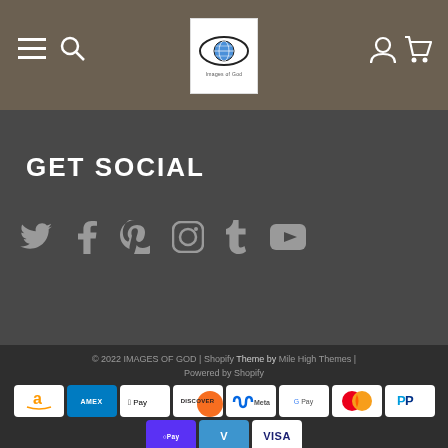Navigation header with menu, search, logo (Images of God), account, and cart icons
GET SOCIAL
[Figure (infographic): Social media icons: Twitter, Facebook, Pinterest, Instagram, Tumblr, YouTube]
© 2022 IMAGES OF GOD | Shopify Theme by Mile High Themes | Powered by Shopify
[Figure (infographic): Payment method icons: Amazon, Amex, Apple Pay, Discover, Meta Pay, Google Pay, Mastercard, PayPal, Shop Pay, Venmo, Visa]